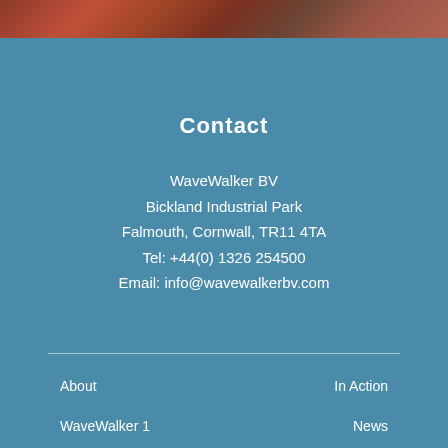[Figure (photo): Top banner image showing textured reddish-brown surface, possibly rock or industrial material]
Contact
WaveWalker BV
Bickland Industrial Park
Falmouth, Cornwall, TR11 4TA
Tel: +44(0) 1326 254500
Email: info@wavewalkerbv.com
About
In Action
WaveWalker 1
News
Market sectors
Our Partners
Projects
Contact